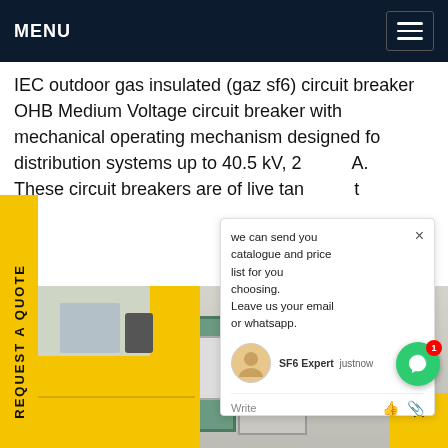MENU
IEC outdoor gas insulated (gaz sf6) circuit breaker OHB Medium Voltage circuit breaker with mechanical operating mechanism designed for distribution systems up to 40.5 kV, 2... A. These circuit breakers are of live tank type
REQUEST A QUOTE
[Figure (photo): Outdoor electrical substation with yellow utility truck in foreground, grey substation boxes/equipment structures, and high-voltage tower lattice in background. Sign with Chinese characters visible.]
we can send you catalogue and price list for you choosing.
Leave us your email or whatsapp.
SF6 Expert   justnow
Write